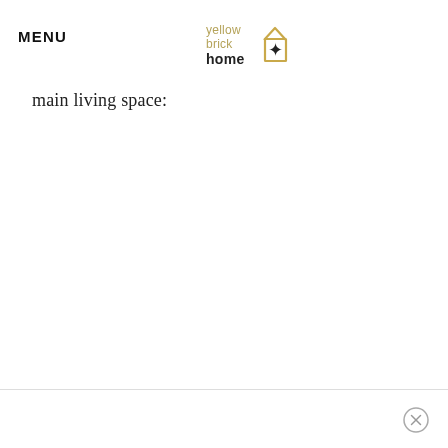MENU
[Figure (logo): Yellow Brick Home logo: text 'yellow brick home' with a house outline in gold/yellow and a black star inside]
main living space:
[Figure (other): Close/dismiss button (circle with X) in bottom right corner]